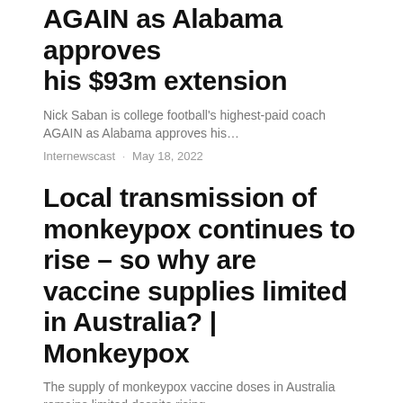AGAIN as Alabama approves his $93m extension
Nick Saban is college football's highest-paid coach AGAIN as Alabama approves his…
Internewscast · May 18, 2022
Local transmission of monkeypox continues to rise – so why are vaccine supplies limited in Australia? | Monkeypox
The supply of monkeypox vaccine doses in Australia remains limited despite rising…
Internewscast · May 18, 2022
[Figure (photo): Black and white photograph, partially visible at bottom of page]